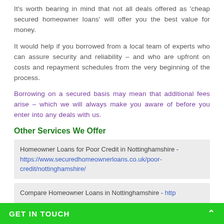It's worth bearing in mind that not all deals offered as 'cheap secured homeowner loans' will offer you the best value for money.
It would help if you borrowed from a local team of experts who can assure security and reliability – and who are upfront on costs and repayment schedules from the very beginning of the process.
Borrowing on a secured basis may mean that additional fees arise – which we will always make you aware of before you enter into any deals with us.
Other Services We Offer
Homeowner Loans for Poor Credit in Nottinghamshire - https://www.securedhomeownerloans.co.uk/poor-credit/nottinghamshire/
Compare Homeowner Loans in Nottinghamshire - http
GET IN TOUCH